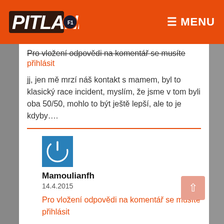MENU (navigation bar with Pitlane Club logo)
Pro vložení odpovědi na komentář se musíte přihlásit
jj, jen mě mrzí náš kontakt s mamem, byl to klasický race incident, myslím, že jsme v tom byli oba 50/50, mohlo to být ještě lepší, ale to je kdyby….
Mamoulianfh
14.4.2015
Pro vložení odpovědi na komentář se musíte přihlásit
Ten kontakt mrzi aj mna. Uplne to rozhodilo aj moje sustredenie. Odvtedy to so mnou slo dole vodou, ale ako vravis